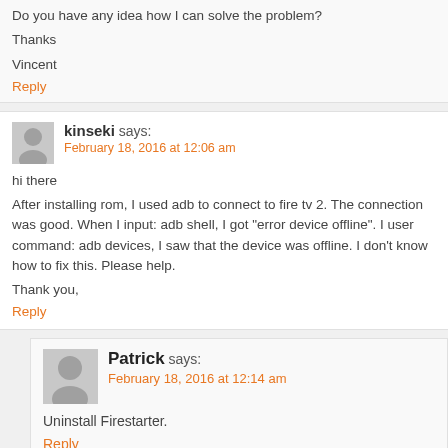Do you have any idea how I can solve the problem?
Thanks
Vincent
Reply
kinseki says:
February 18, 2016 at 12:06 am
hi there
After installing rom, I used adb to connect to fire tv 2. The connection was good. When I input: adb shell, I got "error device offline". I user command: adb devices, I saw that the device was offline. I don't know how to fix this. Please help.
Thank you,
Reply
Patrick says:
February 18, 2016 at 12:14 am
Uninstall Firestarter.
Reply